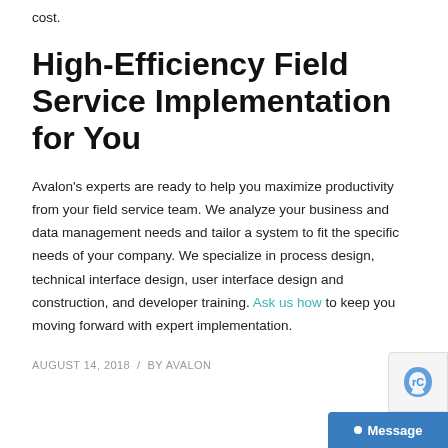cost.
High-Efficiency Field Service Implementation for You
Avalon's experts are ready to help you maximize productivity from your field service team. We analyze your business and data management needs and tailor a system to fit the specific needs of your company. We specialize in process design, technical interface design, user interface design and construction, and developer training. Ask us how to keep you moving forward with expert implementation.
AUGUST 14, 2018 / BY AVALON